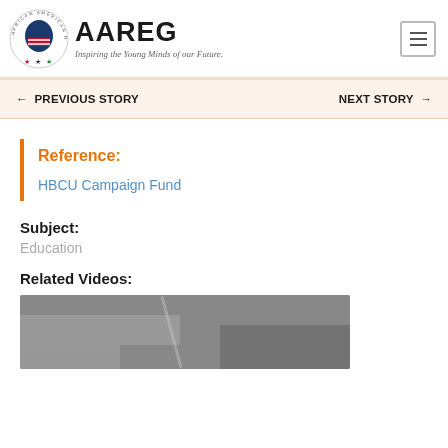AAREG — African American Registry — Inspiring the Young Minds of our Future.
← PREVIOUS STORY    NEXT STORY →
Reference:
HBCU Campaign Fund
Subject:
Education
Related Videos:
[Figure (photo): Grayscale video thumbnail showing an interior scene, partially visible at bottom of page.]